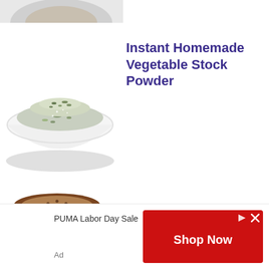[Figure (photo): Partial top strip showing a cropped food item on a white plate]
[Figure (photo): A white bowl filled with green herb powder - Instant Homemade Vegetable Stock Powder]
Instant Homemade Vegetable Stock Powder
[Figure (photo): Two slices of raw vegan chocolate cheesecake with a fork on a white plate]
Raw Vegan Chocolate Cheesecake
PUMA Labor Day Sale
Shop Now
Ad